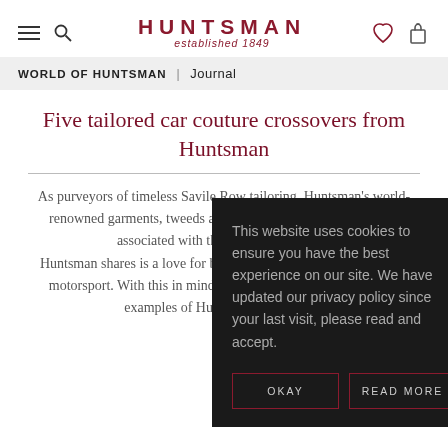HUNTSMAN established 1849
WORLD OF HUNTSMAN | Journal
Five tailored car couture crossovers from Huntsman
As purveyors of timeless Savile Row tailoring, Huntsman's world-renowned garments, tweeds and craftsmanship have long been associated with the finer things in life. One such passion that Huntsman shares is a love for beautifully crafted automobiles and motorsport. With this in mind, we list five of the most exciting examples of Huntsman-driven car couture crossovers.
This website uses cookies to ensure you have the best experience on our site. We have updated our privacy policy since your last visit, please read and accept.